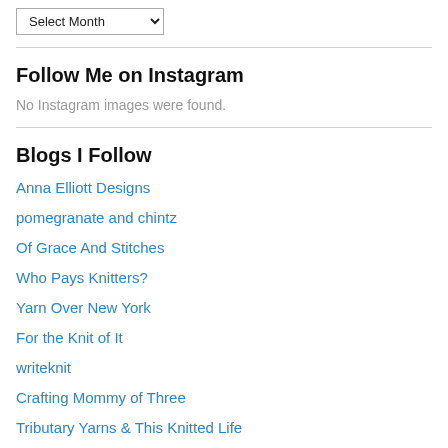[Figure (screenshot): A dropdown selector showing 'Select Month' with a chevron arrow]
Follow Me on Instagram
No Instagram images were found.
Blogs I Follow
Anna Elliott Designs
pomegranate and chintz
Of Grace And Stitches
Who Pays Knitters?
Yarn Over New York
For the Knit of It
writeknit
Crafting Mommy of Three
Tributary Yarns & This Knitted Life
Silver Threads